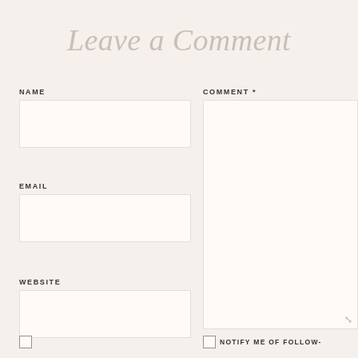Leave a Comment
NAME
EMAIL
WEBSITE
COMMENT *
NOTIFY ME OF FOLLOW-